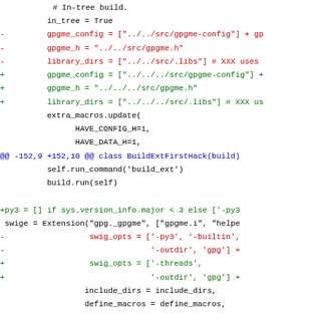Code diff showing changes to gpgme configuration paths and swig options in a build script